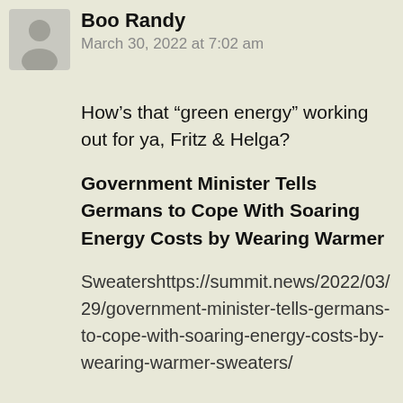[Figure (illustration): Gray avatar silhouette icon of a person, square with rounded appearance]
Boo Randy
March 30, 2022 at 7:02 am
How’s that “green energy” working out for ya, Fritz & Helga?
Government Minister Tells Germans to Cope With Soaring Energy Costs by Wearing Warmer
Sweatershttps://summit.news/2022/03/29/government-minister-tells-germans-to-cope-with-soaring-energy-costs-by-wearing-warmer-sweaters/